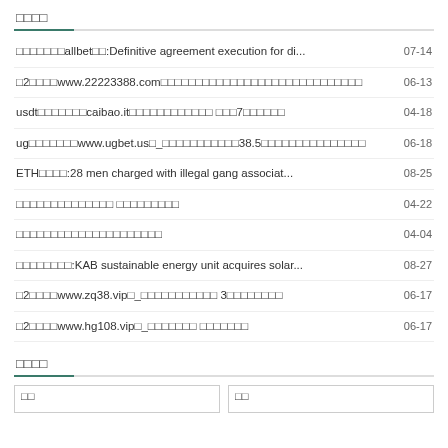□□□□
□□□□□□□allbet□□:Definitive agreement execution for di... 07-14
□2□□□□www.22223388.com□□□□□□□□□□□□□□□□□□□□□□□□□□□□□ 06-13
usdt□□□□□□□caibao.it□□□□□□□□□□□□ □□□7□□□□□□ 04-18
ug□□□□□□□www.ugbet.us□_□□□□□□□□□□□38.5□□□□□□□□□□□□□□□ 06-18
ETH□□□□:28 men charged with illegal gang associat... 08-25
□□□□□□□□□□□□□□ □□□□□□□□□ 04-22
□□□□□□□□□□□□□□□□□□□□□ 04-04
□□□□□□□□:KAB sustainable energy unit acquires solar... 08-27
□2□□□□www.zq38.vip□_□□□□□□□□□□□ 3□□□□□□□□ 06-17
□2□□□□www.hg108.vip□_□□□□□□□ □□□□□□□ 06-17
□□□□
| □□ | □□ |
| --- | --- |